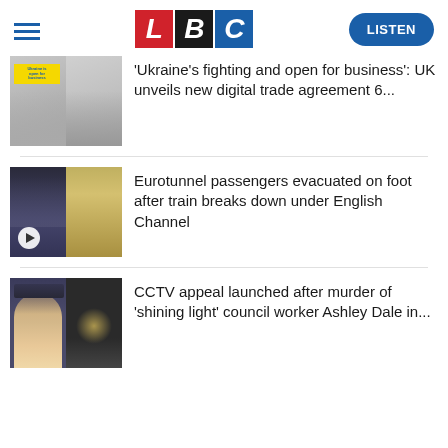LBC — LISTEN
[Figure (photo): Two people standing in front of a white building with a yellow banner reading 'Ukraine is fighting and open for business']
'Ukraine's fighting and open for business': UK unveils new digital trade agreement 6...
[Figure (photo): Eurotunnel tunnel interior with evacuated passengers walking, and a train carriage; play button overlay]
Eurotunnel passengers evacuated on foot after train breaks down under English Channel
[Figure (photo): Woman wearing graduation cap on left, dark street at night on right]
CCTV appeal launched after murder of 'shining light' council worker Ashley Dale in...